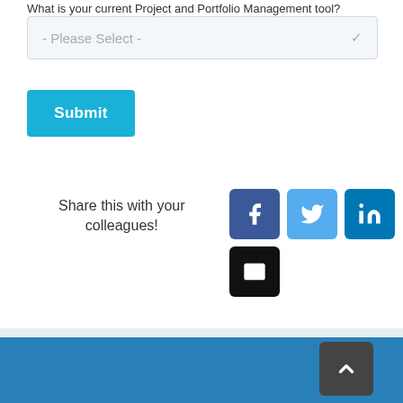What is your current Project and Portfolio Management tool?
[Figure (screenshot): A dropdown select input field showing '- Please Select -' placeholder text with a chevron arrow on the right, styled with a light blue-gray background and border.]
[Figure (screenshot): A teal/cyan colored Submit button.]
Share this with your colleagues!
[Figure (screenshot): Social sharing icons: Facebook (dark blue), Twitter (light blue), LinkedIn (teal blue), and Email (black) icon buttons arranged in a 3+1 grid layout.]
rogoconsulting   Stay up to date